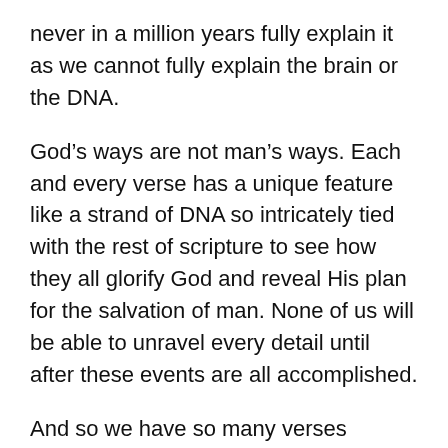never in a million years fully explain it as we cannot fully explain the brain or the DNA.
God’s ways are not man’s ways. Each and every verse has a unique feature like a strand of DNA so intricately tied with the rest of scripture to see how they all glorify God and reveal His plan for the salvation of man. None of us will be able to unravel every detail until after these events are all accomplished.
And so we have so many verses applying to short and then long-term fulfillments that repeat like the regeneration of the cells, all interwoven making them difficult to put in sequential order since they surprise us and revive again and then repeat again.